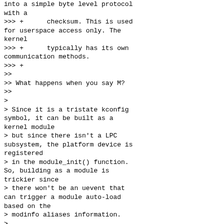into a simple byte level protocol with a
>>> +      checksum. This is used for userspace access only. The kernel
>>> +      typically has its own communication methods.
>>> +
>>
>> What happens when you say M?
>>
>
> Since it is a tristate kconfig symbol, it can be built as a kernel module
> but since there isn't a LPC subsystem, the platform device is registered
> in the module_init() function. So, building as a module is trickier since
> there won't be an uevent that can trigger a module auto-load based on the
> modinfo aliases information.
>

FYI, I noticed that other x86 platform drivers use the dmi system information
to fill dmi modaliases so the